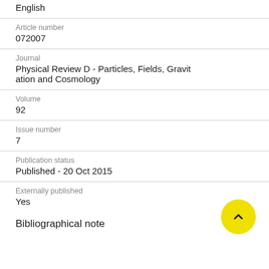English
Article number
072007
Journal
Physical Review D - Particles, Fields, Gravitation and Cosmology
Volume
92
Issue number
7
Publication status
Published - 20 Oct 2015
Externally published
Yes
Bibliographical note